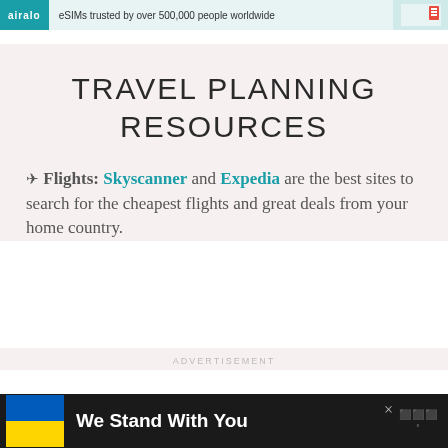[Figure (infographic): Airalo banner advertisement: 'eSIMs trusted by over 500,000 people worldwide']
TRAVEL PLANNING RESOURCES
✈ Flights: Skyscanner and Expedia are the best sites to search for the cheapest flights and great deals from your home country.
ADVERTISEMENT
[Figure (infographic): Advertisement banner: Ukrainian flag icon with text 'We Stand With You' and close button]